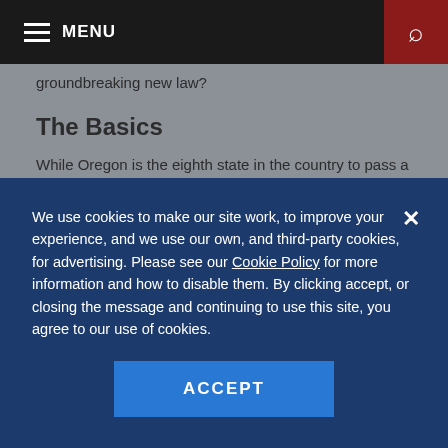MENU
groundbreaking new law?
The Basics
While Oregon is the eighth state in the country to pass a paid-family-leave law, employers in the state will not be surprised to learn that the law is the most progressive in the nation's history, in several
We use cookies to make our site work, to improve your experience, and we use our own, and third-party cookies, for advertising. Please see our Cookie Policy for more information and how to disable them. By clicking accept, or closing the message and continuing to use this site, you agree to our use of cookies.
ACCEPT